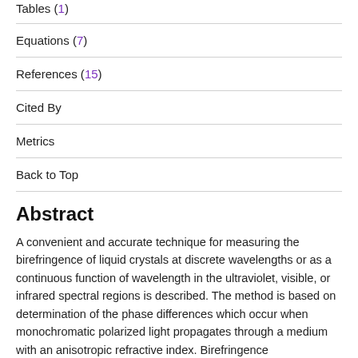Tables (1)
Equations (7)
References (15)
Cited By
Metrics
Back to Top
Abstract
A convenient and accurate technique for measuring the birefringence of liquid crystals at discrete wavelengths or as a continuous function of wavelength in the ultraviolet, visible, or infrared spectral regions is described. The method is based on determination of the phase differences which occur when monochromatic polarized light propagates through a medium with an anisotropic refractive index. Birefringence measurements at 0.6328 μm for two liquid crystal materials,